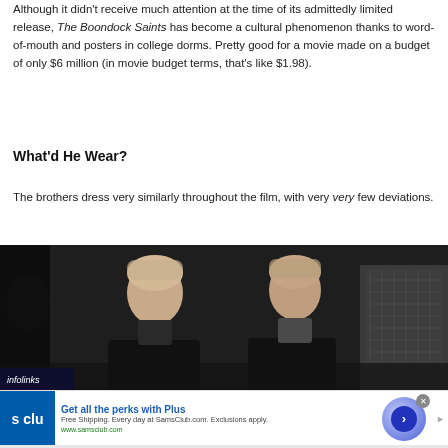Although it didn't receive much attention at the time of its admittedly limited release, The Boondock Saints has become a cultural phenomenon thanks to word-of-mouth and posters in college dorms. Pretty good for a movie made on a budget of only $6 million (in movie budget terms, that's like $1.98).
What'd He Wear?
The brothers dress very similarly throughout the film, with very very few deviations.
[Figure (photo): Two men in dark coats standing in an urban/industrial setting, screenshot from The Boondock Saints film. An 'infolinks' badge appears in the lower left corner.]
[Figure (screenshot): Advertisement: 'Get all the perks with Plus' - Sam's Club ad with blue logo on left, text about free shipping, and a circular button on the right. Close button in upper right area.]